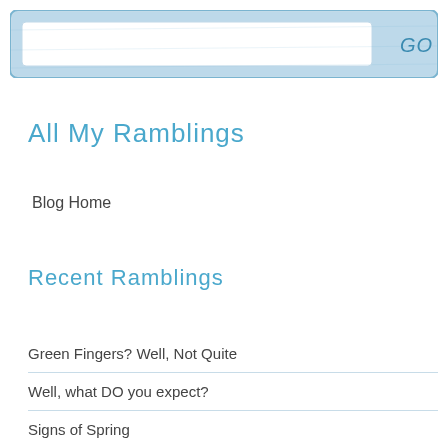[Figure (illustration): Hand-drawn style search bar with a white input field and a blue textured background. A 'GO' button appears on the right side.]
All My Ramblings
Blog Home
Recent Ramblings
Green Fingers? Well, Not Quite
Well, what DO you expect?
Signs of Spring